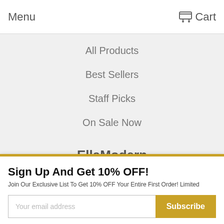Menu    Cart
All Products
Best Sellers
Staff Picks
On Sale Now
EllaModern
Sign Up And Get 10% OFF!
Join Our Exclusive List To Get 10% OFF Your Entire First Order! Limited
Price Guarantee
Back To Top
Get In Touch
Support@EllaModern.com
1 (888) 983-ELLA
Business Hours: